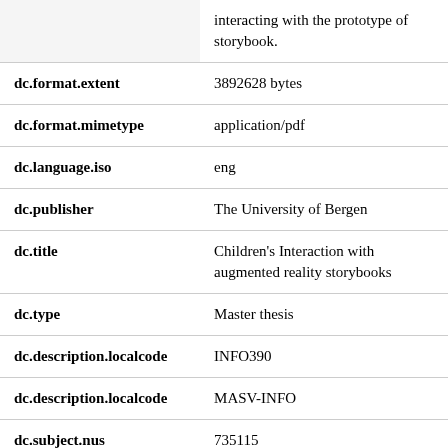| Field | Value |
| --- | --- |
|  | interacting with the prototype of storybook. |
| dc.format.extent | 3892628 bytes |
| dc.format.mimetype | application/pdf |
| dc.language.iso | eng |
| dc.publisher | The University of Bergen |
| dc.title | Children's Interaction with augmented reality storybooks |
| dc.type | Master thesis |
| dc.description.localcode | INFO390 |
| dc.description.localcode | MASV-INFO |
| dc.subject.nus | 735115 |